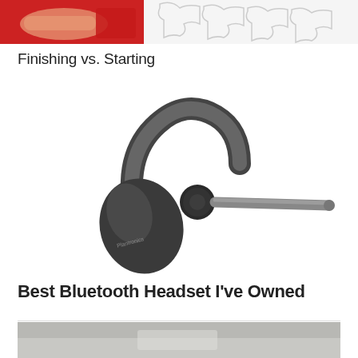[Figure (photo): Partial view of a hand holding a red puzzle piece, with white puzzle pieces in the background]
Finishing vs. Starting
[Figure (photo): A dark gray Plantronics Bluetooth headset with an ear hook and microphone boom, on a white background]
Best Bluetooth Headset I've Owned
[Figure (photo): Bottom portion of another article image, partially visible]